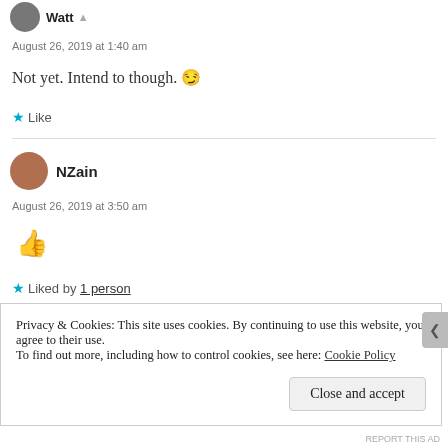Watt
August 26, 2019 at 1:40 am
Not yet. Intend to though. 😉
★ Like
NZain
August 26, 2019 at 3:50 am
👍
★ Liked by 1 person
Privacy & Cookies: This site uses cookies. By continuing to use this website, you agree to their use. To find out more, including how to control cookies, see here: Cookie Policy
Close and accept